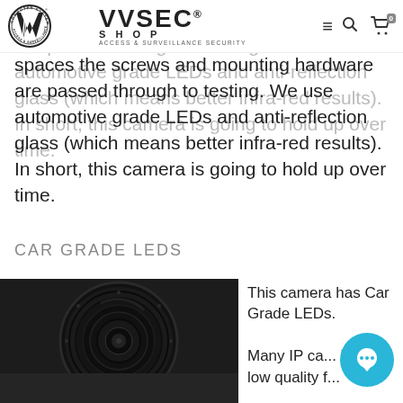VVSEC SHOP — ACCESS & SURVEILLANCE SECURITY — navigation bar with logo, hamburger menu, search, and cart (0)
spaces the screws and mounting hardware are passed through to testing. We use automotive grade LEDs and anti-reflection glass (which means better infra-red results). In short, this camera is going to hold up over time.
CAR GRADE LEDS
[Figure (photo): Close-up photograph of a security camera lens showing dark circular housing with concentric rings, textured black surface visible]
This camera has Car Grade LEDs. Many IP ca... include low quality f...